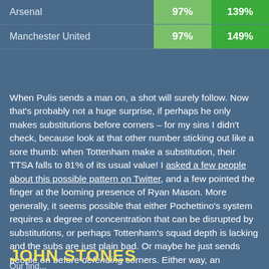| Team | Col1 | Col2 |
| --- | --- | --- |
| Arsenal | 97% | 139% |
| Manchester United | 97% | 149% |
When Pulis sends a man on, a shot will surely follow. Now that's probably not a huge surprise, if perhaps he only makes substitutions before corners – for my sins I didn't check, because look at that other number sticking out like a sore thumb: when Tottenham make a substitution, their TTSA falls to 81% of its usual value! I asked a few people about this possible pattern on Twitter, and a few pointed the finger at the looming presence of Ryan Mason. More generally, it seems possible that either Pochettino's system requires a degree of concentration that can be disrupted by substitutions, or perhaps Tottenham's squad depth is lacking and the subs are just plain bad. Or maybe he just sends people on before defending corners. Either way, an interesting one to follow up later.
JOHN STONES
Our find...